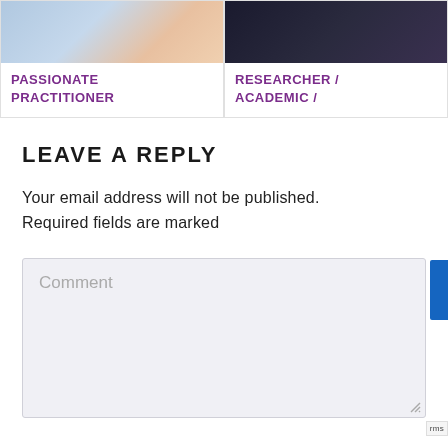[Figure (photo): Photo of a person in light blue shirt with pink chair background]
PASSIONATE PRACTITIONER
[Figure (photo): Photo of a person working on a laptop in dark setting]
RESEARCHER / ACADEMIC /
LEAVE A REPLY
Your email address will not be published. Required fields are marked
[Figure (other): Comment text input box with placeholder text 'Comment']